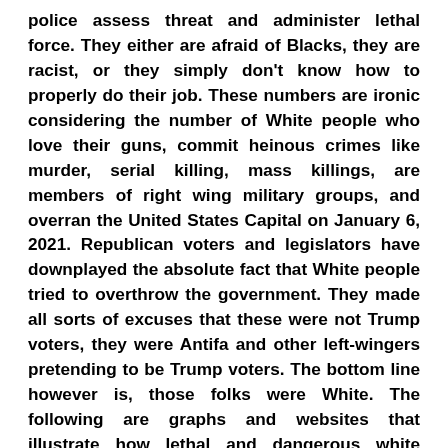police assess threat and administer lethal force. They either are afraid of Blacks, they are racist, or they simply don't know how to properly do their job. These numbers are ironic considering the number of White people who love their guns, commit heinous crimes like murder, serial killing, mass killings, are members of right wing military groups, and overran the United States Capital on January 6, 2021. Republican voters and legislators have downplayed the absolute fact that White people tried to overthrow the government. They made all sorts of excuses that these were not Trump voters, they were Antifa and other left-wingers pretending to be Trump voters. The bottom line however is, those folks were White. The following are graphs and websites that illustrate how lethal and dangerous white people are.